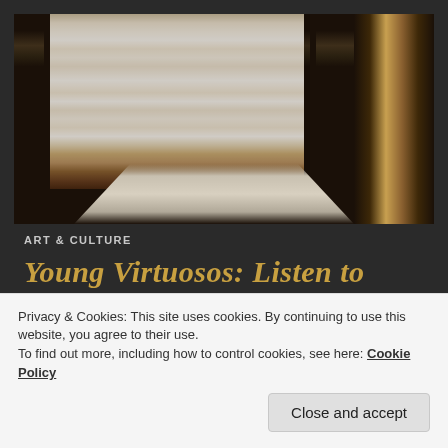[Figure (photo): Interior photograph of an ornate room with white lace curtains hanging in a window, a reflective surface below (possibly a grand piano lid), and dark decorative woodwork on the right side]
ART & CULTURE
Young Virtuosos: Listen to German-Turkish concert pianist and composer Dehiz
Privacy & Cookies: This site uses cookies. By continuing to use this website, you agree to their use.
To find out more, including how to control cookies, see here: Cookie Policy
Close and accept